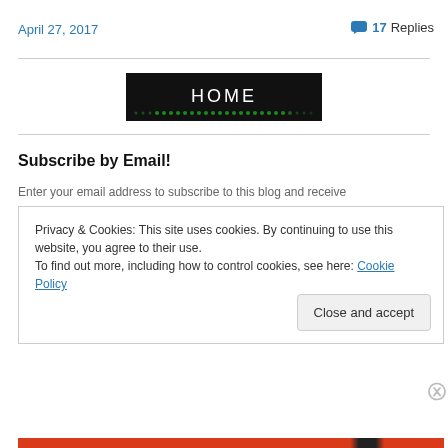April 27, 2017
💬 17 Replies
[Figure (screenshot): Black banner image with white text 'HOME' and a row of green dots below it]
Subscribe by Email!
Enter your email address to subscribe to this blog and receive
Privacy & Cookies: This site uses cookies. By continuing to use this website, you agree to their use.
To find out more, including how to control cookies, see here: Cookie Policy
Close and accept